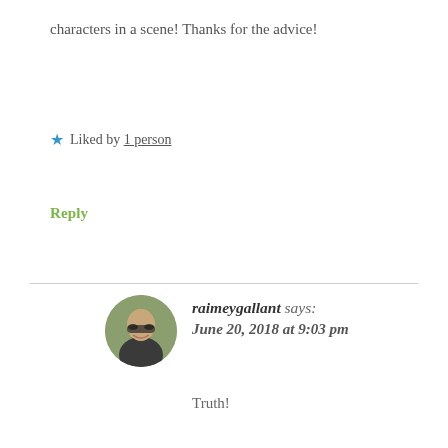characters in a scene! Thanks for the advice!
★ Liked by 1 person
Reply
raimeygallant says: June 20, 2018 at 9:03 pm
Truth!
★ Like
Reply